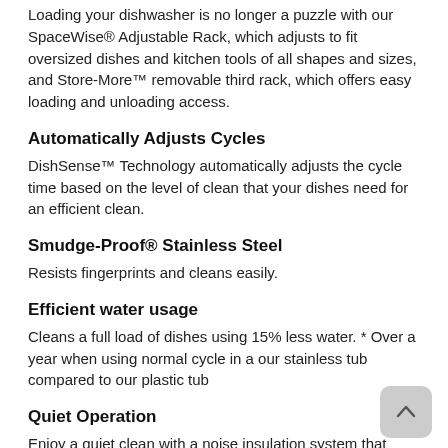Loading your dishwasher is no longer a puzzle with our SpaceWise® Adjustable Rack, which adjusts to fit oversized dishes and kitchen tools of all shapes and sizes, and Store-More™ removable third rack, which offers easy loading and unloading access.
Automatically Adjusts Cycles
DishSense™ Technology automatically adjusts the cycle time based on the level of clean that your dishes need for an efficient clean.
Smudge-Proof® Stainless Steel
Resists fingerprints and cleans easily.
Efficient water usage
Cleans a full load of dishes using 15% less water. * Over a year when using normal cycle in a our stainless tub compared to our plastic tub
Quiet Operation
Enjoy a quiet clean with a noise insulation system that keeps dishwasher noise to 49dBA.
Status Indicator Floor Beams
Convenient LED Floor Beam Indicators illuminate the